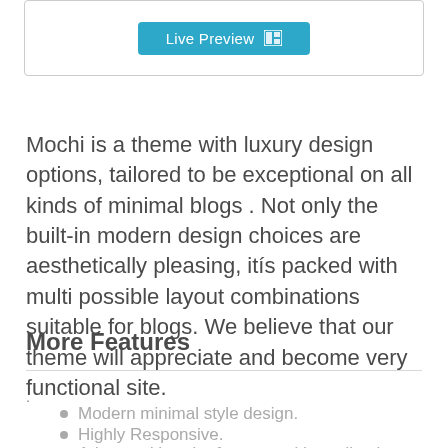[Figure (screenshot): Live Preview button with teal/blue background and a layout icon on the right side, inside a bordered box]
Mochi is a theme with luxury design options, tailored to be exceptional on all kinds of minimal blogs . Not only the built-in modern design choices are aesthetically pleasing, itís packed with multi possible layout combinations suitable for blogs. We believe that our theme will appreciate and become very functional site.
More Features
.
Modern minimal style design.
Highly Responsive.
Advanced header features with mutil uniqe header